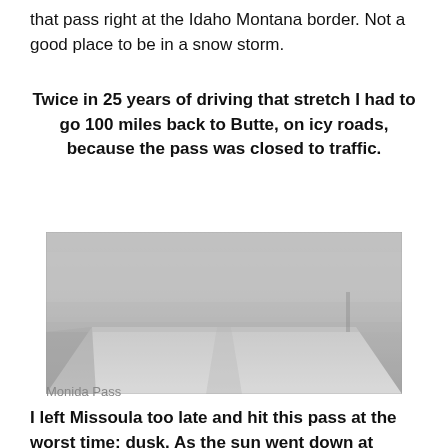that pass right at the Idaho Montana border. Not a good place to be in a snow storm.
Twice in 25 years of driving that stretch I had to go 100 miles back to Butte, on icy roads, because the pass was closed to traffic.
[Figure (photo): A black and white photograph of a snowy, foggy road at Monida Pass, visibility very low, snow covering the road and surroundings.]
Monida Pass
I left Missoula too late and hit this pass at the worst time: dusk. As the sun went down at 7,000 feet I watched the